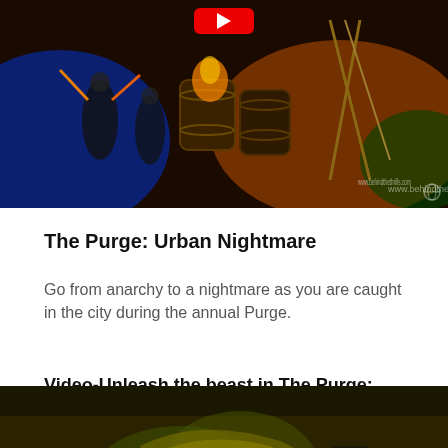[Figure (photo): Dark theatrical performance scene with blue and orange lighting, barrels, and performers with glowing props]
The Purge: Urban Nightmare
Go from anarchy to a nightmare as you are caught in the city during the annual Purge.
Video-Unleash the beast in The Purge: Urban Nightmares
[Figure (screenshot): YouTube video thumbnail for 'The Purge: Urban Nightmare Scar...' with BTT channel icon and dark mechanical/monster imagery]